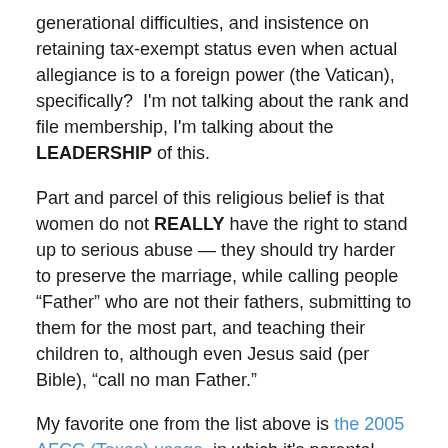generational difficulties, and insistence on retaining tax-exempt status even when actual allegiance is to a foreign power (the Vatican), specifically?  I'm not talking about the rank and file membership, I'm talking about the LEADERSHIP of this.
Part and parcel of this religious belief is that women do not REALLY have the right to stand up to serious abuse — they should try harder to preserve the marriage, while calling people “Father” who are not their fathers, submitting to them for the most part, and teaching their children to, although even Jesus said (per Bible), “call no man Father.”
My favorite one from the list above is the 2005 AFCC (Texas) usage, in which it's parental pathology that's really intransigent: